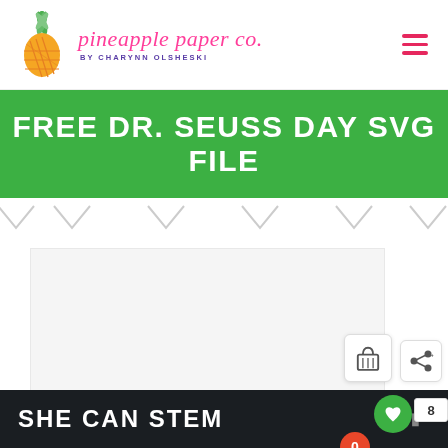pineapple paper co. by CHARYNN OLSHESKI
FREE DR. SEUSS DAY SVG FILE
[Figure (illustration): Decorative chevron arrows row below banner]
[Figure (photo): Large light gray image placeholder area for Dr. Seuss Day SVG file preview]
SHE CAN STEM